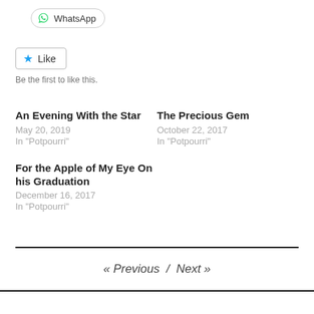[Figure (other): WhatsApp share button with WhatsApp logo icon]
[Figure (other): Like button with blue star icon]
Be the first to like this.
An Evening With the Star
May 20, 2019
In "Potpourri"
The Precious Gem
October 22, 2017
In "Potpourri"
For the Apple of My Eye On his Graduation
December 16, 2017
In "Potpourri"
« Previous / Next »